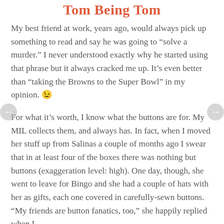Tom Being Tom
My best friend at work, years ago, would always pick up something to read and say he was going to “solve a murder.” I never understood exactly why he started using that phrase but it always cracked me up. It’s even better than “taking the Browns to the Super Bowl” in my opinion. 😉
For what it’s worth, I know what the buttons are for. My MIL collects them, and always has. In fact, when I moved her stuff up from Salinas a couple of months ago I swear that in at least four of the boxes there was nothing but buttons (exaggeration level: high). One day, though, she went to leave for Bingo and she had a couple of hats with her as gifts, each one covered in carefully-sewn buttons. “My friends are button fanatics, too,” she happily replied when I